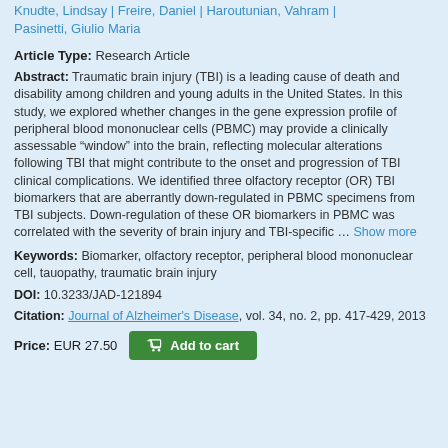Knudte, Lindsay | Freire, Daniel | Haroutunian, Vahram | Pasinetti, Giulio Maria
Article Type: Research Article
Abstract: Traumatic brain injury (TBI) is a leading cause of death and disability among children and young adults in the United States. In this study, we explored whether changes in the gene expression profile of peripheral blood mononuclear cells (PBMC) may provide a clinically assessable “window” into the brain, reflecting molecular alterations following TBI that might contribute to the onset and progression of TBI clinical complications. We identified three olfactory receptor (OR) TBI biomarkers that are aberrantly down-regulated in PBMC specimens from TBI subjects. Down-regulation of these OR biomarkers in PBMC was correlated with the severity of brain injury and TBI-specific ... Show more
Keywords: Biomarker, olfactory receptor, peripheral blood mononuclear cell, tauopathy, traumatic brain injury
DOI: 10.3233/JAD-121894
Citation: Journal of Alzheimer's Disease, vol. 34, no. 2, pp. 417-429, 2013
Price: EUR 27.50  Add to cart